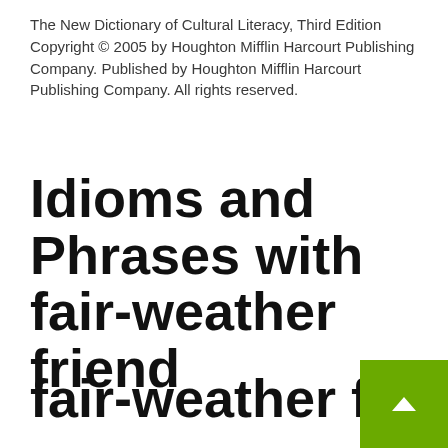The New Dictionary of Cultural Literacy, Third Edition Copyright © 2005 by Houghton Mifflin Harcourt Publishing Company. Published by Houghton Mifflin Harcourt Publishing Company. All rights reserved.
Idioms and Phrases with fair-weather friend
fair-weather friend